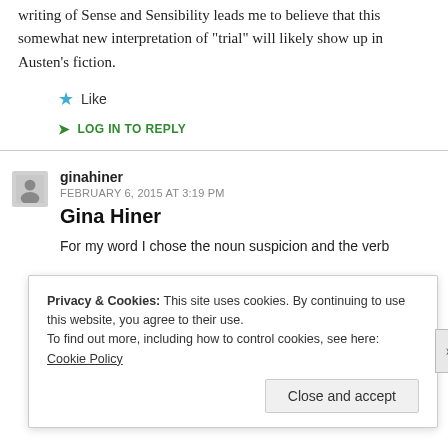writing of Sense and Sensibility leads me to believe that this somewhat new interpretation of “trial” will likely show up in Austen’s fiction.
★ Like
➜ LOG IN TO REPLY
ginahiner
FEBRUARY 6, 2015 AT 3:19 PM
Gina Hiner
For my word I chose the noun suspicion and the verb
Privacy & Cookies: This site uses cookies. By continuing to use this website, you agree to their use.
To find out more, including how to control cookies, see here: Cookie Policy
Close and accept